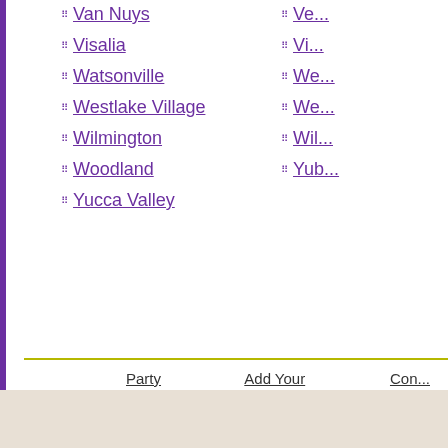Van Nuys
Visalia
Watsonville
Westlake Village
Wilmington
Woodland
Yucca Valley
Vi...
We...
Wil...
Yub...
Party Planning   Add Your Business   Con...